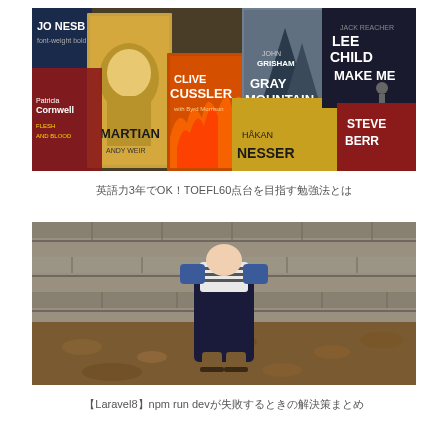[Figure (photo): A collection of bestselling novels displayed together including books by Jo Nesbo, The Martian by Andy Weir, Gray Mountain by John Grisham, Make Me by Lee Child, Patricia Cornwell Flesh and Blood, Clive Cussler, Hakan Nesser, and Steve Berry]
英語力3年でOK！TOEFL60点台を目指す勉強法とは
[Figure (photo): A person sitting with knees drawn up against a stone wall, wearing a striped top and dark skirt with brown boots, sitting on autumn leaves]
【Laravel8】npm run devが失敗するときの解決策まとめ